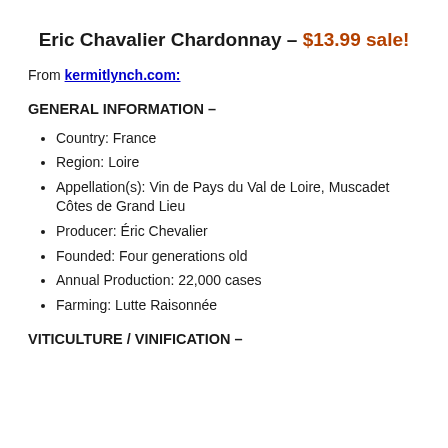Eric Chavalier Chardonnay – $13.99 sale!
From kermitlynch.com:
GENERAL INFORMATION –
Country:  France
Region:  Loire
Appellation(s):  Vin de Pays du Val de Loire, Muscadet Côtes de Grand Lieu
Producer:  Éric Chevalier
Founded:  Four generations old
Annual Production:  22,000 cases
Farming:  Lutte Raisonnée
VITICULTURE / VINIFICATION –